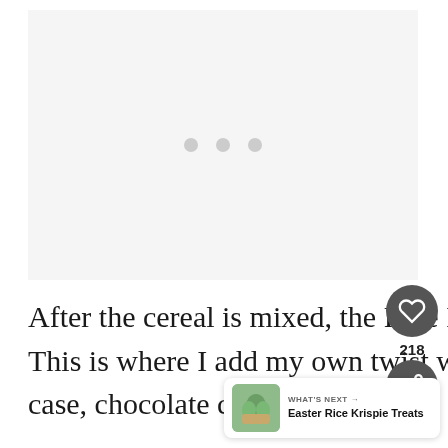[Figure (other): Ad placeholder area with three gray dots indicating loading or ad content]
After the cereal is mixed, the Rice Krispie treats are technically done. This is where I add my own twist with extra marshmallows. and in this case, chocolate candy.
[Figure (other): Heart/like button showing 218 likes and a share button]
[Figure (other): What's Next widget showing Easter Rice Krispie Treats with thumbnail]